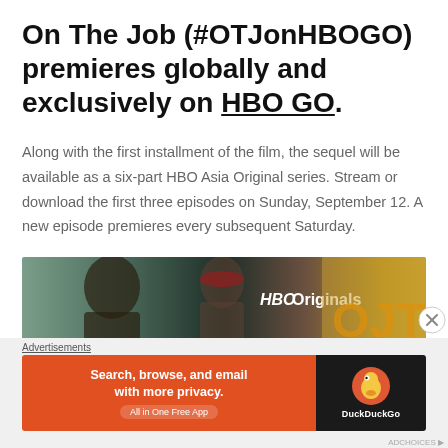On The Job (#OTJonHBOGO) premieres globally and exclusively on HBO GO.
Along with the first installment of the film, the sequel will be available as a six-part HBO Asia Original series. Stream or download the first three episodes on Sunday, September 12. A new episode premieres every subsequent Saturday.
[Figure (photo): HBO Originals promotional banner showing actors from 'On The Job' with text 'HBO Originals' on the right side]
Advertisements
[Figure (screenshot): DuckDuckGo advertisement banner. Left side: orange background with text 'Search, browse, and email with more privacy. All in One Free App'. Right side: dark background with DuckDuckGo duck logo and 'DuckDuckGo' text.]